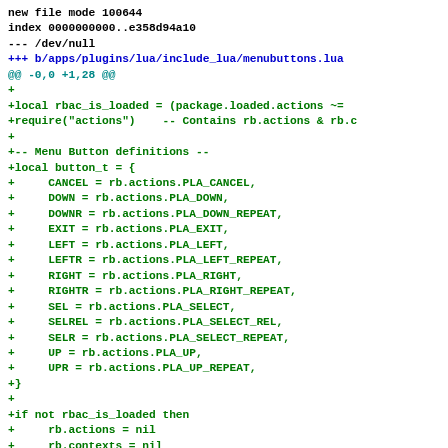new file mode 100644
index 0000000000..e358d94a10
--- /dev/null
+++ b/apps/plugins/lua/include_lua/menubuttons.lua
@@ -0,0 +1,28 @@
+
+local rbac_is_loaded = (package.loaded.actions ~=
+require("actions")    -- Contains rb.actions & rb.c
+
+-- Menu Button definitions --
+local button_t = {
+     CANCEL = rb.actions.PLA_CANCEL,
+     DOWN = rb.actions.PLA_DOWN,
+     DOWNR = rb.actions.PLA_DOWN_REPEAT,
+     EXIT = rb.actions.PLA_EXIT,
+     LEFT = rb.actions.PLA_LEFT,
+     LEFTR = rb.actions.PLA_LEFT_REPEAT,
+     RIGHT = rb.actions.PLA_RIGHT,
+     RIGHTR = rb.actions.PLA_RIGHT_REPEAT,
+     SEL = rb.actions.PLA_SELECT,
+     SELREL = rb.actions.PLA_SELECT_REL,
+     SELR = rb.actions.PLA_SELECT_REPEAT,
+     UP = rb.actions.PLA_UP,
+     UPR = rb.actions.PLA_UP_REPEAT,
+}
+
+if not rbac_is_loaded then
+     rb.actions = nil
+     rb.contexts = nil
+     package.loaded.actionss = nil